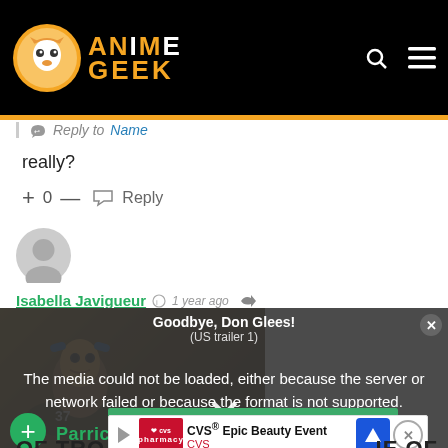[Figure (logo): Anime Geek website logo with orange owl mascot and ANIME GEEK text in white and orange on black background]
Reply to Name
really?
+ 0 — ↪ Reply
[Figure (photo): User avatar placeholder circle icon (grey)]
Isabella Javigueur · 1 year ago
[Figure (screenshot): Video player showing anime character, with error overlay: 'The media could not be loaded, either because the server or network failed or because the format is not supported.' and a large X close button. Title: Goodbye, Don Glees! (US trailer 1)]
37
Would love your thoughts, please...
CVS® Epic Beauty Event
CVS